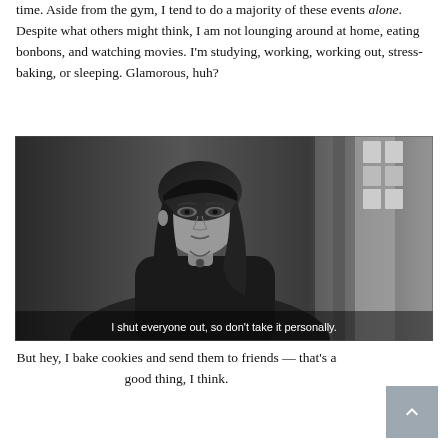time. Aside from the gym, I tend to do a majority of these events alone. Despite what others might think, I am not lounging around at home, eating bonbons, and watching movies. I'm studying, working, working out, stress-baking, or sleeping. Glamorous, huh?
[Figure (screenshot): Black and white film screenshot of a young woman with long dark hair looking to the side, with subtitle text: 'I shut everyone out, so don't take it personally.']
But hey, I bake cookies and send them to friends — that's a good thing, I think.